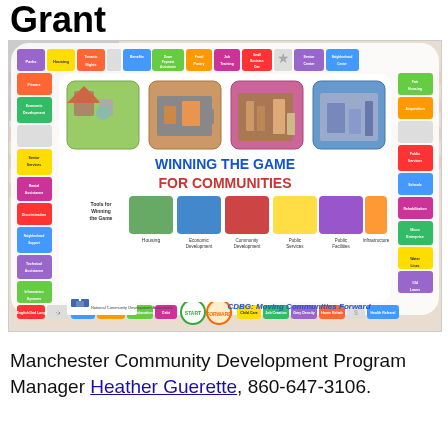Grant
[Figure (illustration): CDBG board game image titled 'Winning the Game for Communities' showing a board game layout with various community development categories such as Housing, Economic Development, Community Development, Public Services, Public Facilities, Infrastructure. The board has colored squares around the perimeter with labels like Parks, Housing, Tenants Rights, Benefits, Down Payment Assistance, Food Pantry, Job Training, Small Business Development, Senior Center, Neighborhood Center, Fair Housing, Acquisition, Public Services, Schools, Rehabilitation, Micro Enterprise, Water Lines, 134 Loans, Home Rehab, Grey Density, Job Creation, Child Care, Home Repair, Job Relocation, Debt, Bridges, English as a Second Language, Information Systems, Technical Assistance, Neighborhood Support, Discrimination, Rental Assistance, Senior Services, Economic Development, Prisons. Bottom shows: National Community Development Association and 'CDBG: Moving Communities Forward'.]
Manchester Community Development Program Manager Heather Guerette, 860-647-3106.